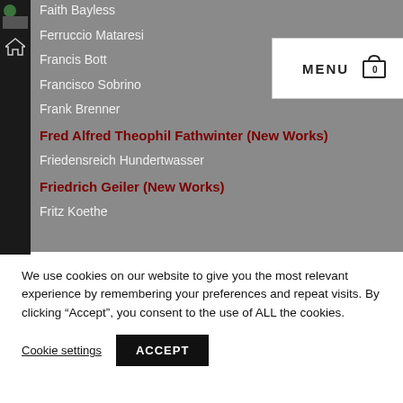Faith Bayless
Ferruccio Mataresi
Francis Bott
Francisco Sobrino
Frank Brenner
Fred Alfred Theophil Fathwinter (New Works)
Friedensreich Hundertwasser
Friedrich Geiler (New Works)
Fritz Koethe
We use cookies on our website to give you the most relevant experience by remembering your preferences and repeat visits. By clicking “Accept”, you consent to the use of ALL the cookies.
Cookie settings
ACCEPT